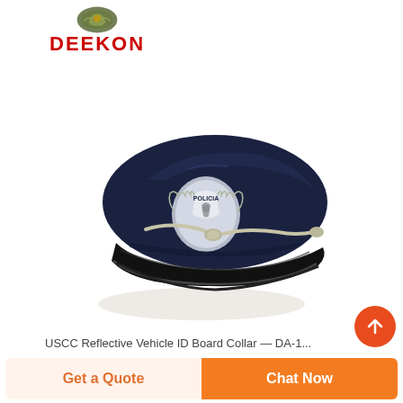[Figure (logo): DEEKON brand logo with military/police emblem icon above red bold text DEEKON]
[Figure (photo): A navy blue police peaked cap with a silver Policia badge on the front and a silver braided chin strap cord, black brim with black patent leather edge, photographed on white background]
USCC Reflective Vehicle ID Board Collar — DA-1...
Get a Quote
Chat Now